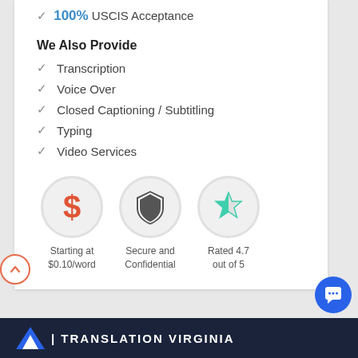✓ 100% USCIS Acceptance
We Also Provide
✓ Transcription
✓ Voice Over
✓ Closed Captioning / Subtitling
✓ Typing
✓ Video Services
[Figure (infographic): Three circular badge icons: a red dollar sign (Starting at $0.10/word), a shield icon (Secure and Confidential), and a teal star rating icon (Rated 4.7 out of 5)]
TRANSLATION VIRGINIA